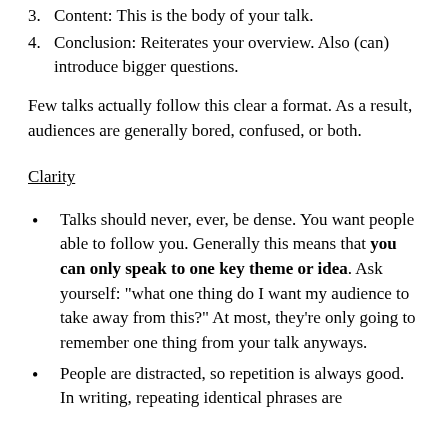3. Content: This is the body of your talk.
4. Conclusion: Reiterates your overview. Also (can) introduce bigger questions.
Few talks actually follow this clear a format. As a result, audiences are generally bored, confused, or both.
Clarity
Talks should never, ever, be dense. You want people able to follow you. Generally this means that you can only speak to one key theme or idea. Ask yourself: “what one thing do I want my audience to take away from this?” At most, they’re only going to remember one thing from your talk anyways.
People are distracted, so repetition is always good. In writing, repeating identical phrases are